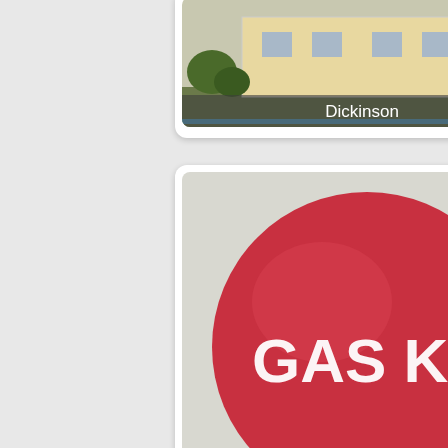[Figure (photo): Photo card showing Dickinson location with building and trees, label 'Dickinson' at bottom]
[Figure (photo): Photo card showing a large red water tower with 'GAS KAN' text, label 'Gas' at bottom]
[Figure (photo): Photo card showing a commercial building street view, label 'Ford' at bottom]
[Figure (photo): Partial photo card at bottom, showing blue/teal shape, partially cut off]
[Figure (other): Back-to-top button in upper right corner with dark background and white chevron/caret pointing up]